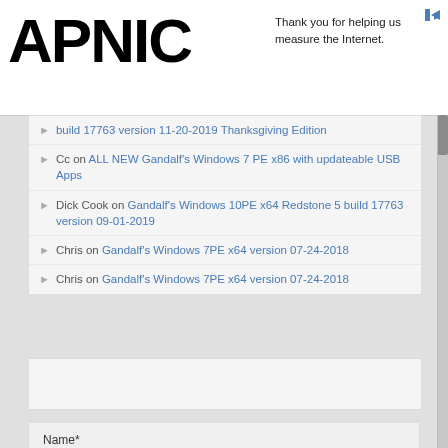[Figure (logo): APNIC logo in large bold black text]
Thank you for helping us measure the Internet.
build 17763 version 11-20-2019 Thanksgiving Edition
Cc on ALL NEW Gandalf's Windows 7 PE x86 with updateable USB Apps
Dick Cook on Gandalf's Windows 10PE x64 Redstone 5 build 17763 version 09-01-2019
Chris on Gandalf's Windows 7PE x64 version 07-24-2018
Chris on Gandalf's Windows 7PE x64 version 07-24-2018
Name*
Email*
Subscribe